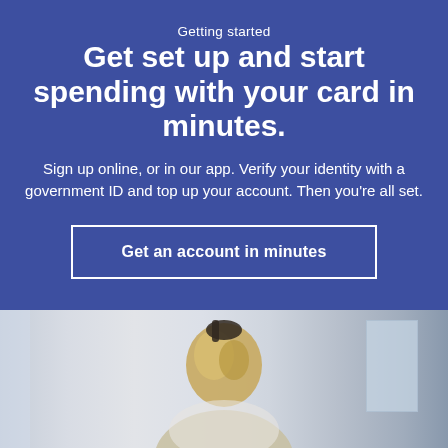Getting started
Get set up and start spending with your card in minutes.
Sign up online, or in our app. Verify your identity with a government ID and top up your account. Then you're all set.
Get an account in minutes
[Figure (photo): Person with blond hair viewed from behind, in a bright indoor environment with windows visible in background]